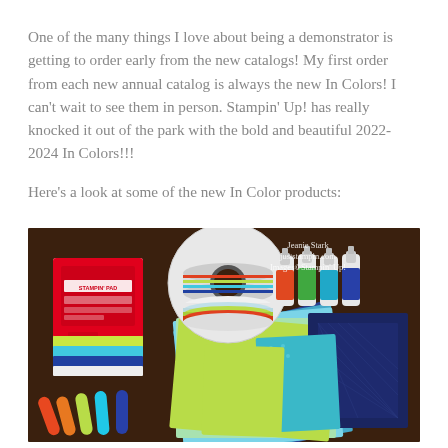One of the many things I love about being a demonstrator is getting to order early from the new catalogs! My first order from each new annual catalog is always the new In Colors! I can't wait to see them in person. Stampin' Up! has really knocked it out of the park with the bold and beautiful 2022-2024 In Colors!!!
Here's a look at some of the new In Color products:
[Figure (photo): Photo of Stampin' Up! In Color products including stamping pads, ink refills, ribbon spools, markers, and cardstock sheets in various colors. Watermark reads: Jeanie Stark juststampin.com Images©Stampin' Up!]